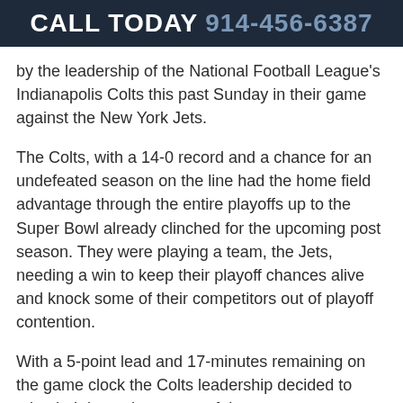CALL TODAY 914-456-6387
by the leadership of the National Football League's Indianapolis Colts this past Sunday in their game against the New York Jets.
The Colts, with a 14-0 record and a chance for an undefeated season on the line had the home field advantage through the entire playoffs up to the Super Bowl already clinched for the upcoming post season. They were playing a team, the Jets, needing a win to keep their playoff chances alive and knock some of their competitors out of playoff contention.
With a 5-point lead and 17-minutes remaining on the game clock the Colts leadership decided to take their best players out of the game to save them for arguably the last game of the season.